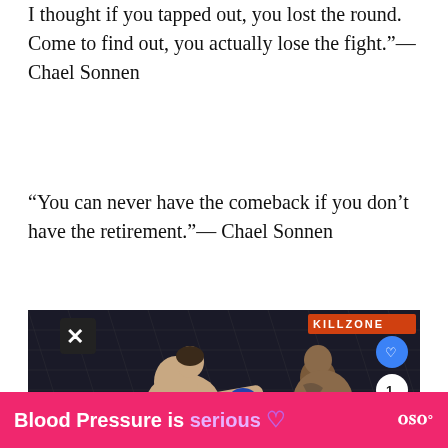“I thought if you tapped out, you lost the round. Come to find out, you actually lose the fight.”— Chael Sonnen
“You can never have the comeback if you don’t have the retirement.”— Chael Sonnen
[Figure (photo): Two MMA fighters in a UFC cage match, one kicking the other in the head. A 'KILLZONE' banner is visible in the background. Social action buttons (heart, share, count) are on the right side.]
Blood Pressure is serious ♥